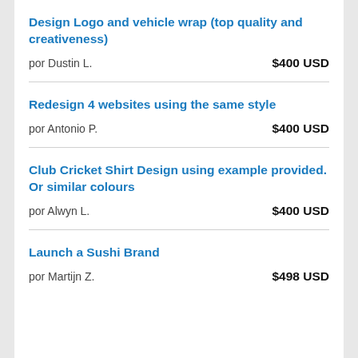Design Logo and vehicle wrap (top quality and creativeness)
por Dustin L.  $400 USD
Redesign 4 websites using the same style
por Antonio P.  $400 USD
Club Cricket Shirt Design using example provided. Or similar colours
por Alwyn L.  $400 USD
Launch a Sushi Brand
por Martijn Z.  $498 USD